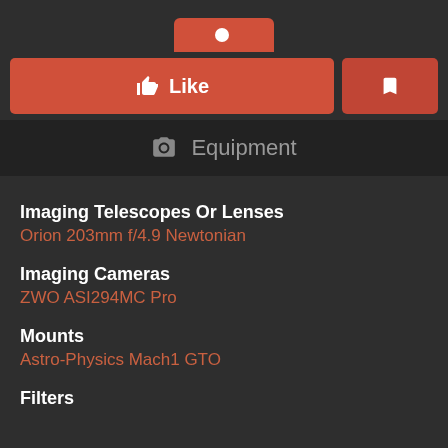[Figure (screenshot): Top salmon/red rounded button partially visible at top center of page]
Like
Equipment
Imaging Telescopes Or Lenses
Orion 203mm f/4.9 Newtonian
Imaging Cameras
ZWO ASI294MC Pro
Mounts
Astro-Physics Mach1 GTO
Filters